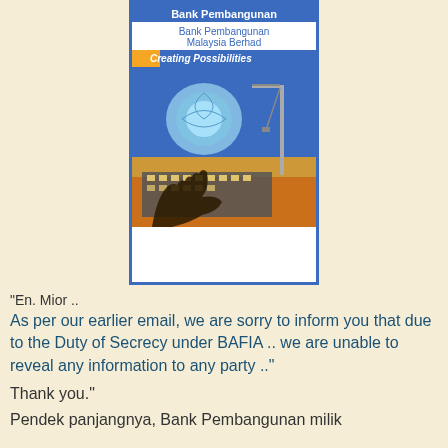[Figure (logo): Bank Pembangunan Malaysia Berhad logo with 'Creating Possibilities' banner and an illustration of a globe, crane, building and hand silhouette on a blue/orange background]
“En. Mior ..
As per our earlier email, we are sorry to inform you that due to the Duty of Secrecy under BAFIA .. we are unable to reveal any information to any party .."

Thank you."

Pendek panjangnya, Bank Pembangunan milik